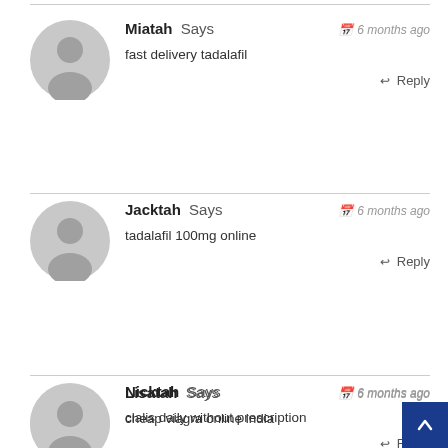Miatah Says — 6 months ago — fast delivery tadalafil — Reply
Jacktah Says — 6 months ago — tadalafil 100mg online — Reply
Nicktah Says — 6 months ago — cialis daily without prescription — Reply
Lisatah Says — 6 months ago — cheap viagra online india — Reply